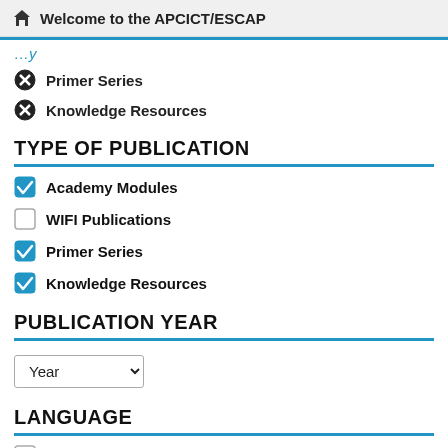Welcome to the APCICT/ESCAP
Primer Series
Knowledge Resources
TYPE OF PUBLICATION
Academy Modules (checked)
WIFI Publications (unchecked)
Primer Series (checked)
Knowledge Resources (checked)
PUBLICATION YEAR
Year (dropdown)
LANGUAGE
English (49) (unchecked)
Russian (14) (checked)